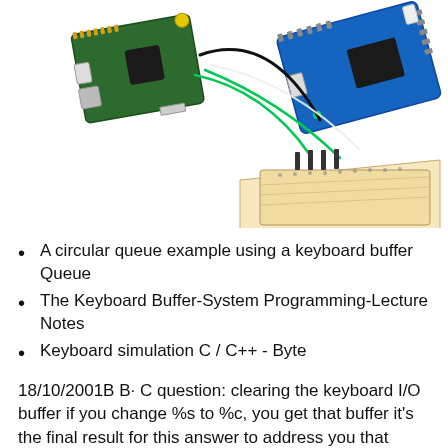[Figure (photo): Photo of a Raspberry Pi and Arduino microcontroller boards connected together with wires on a breadboard, on a white background.]
A circular queue example using a keyboard buffer Queue
The Keyboard Buffer-System Programming-Lecture Notes
Keyboard simulation C / C++ - Byte
18/10/2001B B· C question: clearing the keyboard I/O buffer if you change %s to %c, you get that buffer it's the final result for this answer to address you that